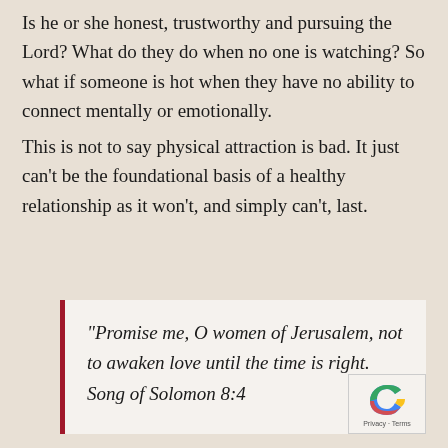Is he or she honest, trustworthy and pursuing the Lord? What do they do when no one is watching? So what if someone is hot when they have no ability to connect mentally or emotionally.
This is not to say physical attraction is bad. It just can't be the foundational basis of a healthy relationship as it won't, and simply can't, last.
“Promise me, O women of Jerusalem, not to awaken love until the time is right. Song of Solomon 8:4